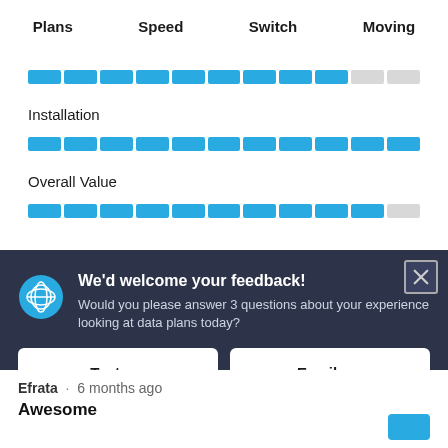Plans  Speed  Switch  Moving
[Figure (infographic): Horizontal segmented progress bar, mostly blue fill with a small grey remainder]
Installation
[Figure (infographic): Horizontal segmented progress bar, fully blue fill]
Overall Value
[Figure (infographic): Horizontal segmented progress bar, mostly blue fill]
[Figure (screenshot): Feedback modal overlay with AT&T logo, title 'We'd welcome your feedback!', body text 'Would you please answer 3 questions about your experience looking at data plans today?', two buttons: Text me, Email me, and footer link 'Powered by Verint Experience Cloud']
Efrata · 6 months ago
Awesome